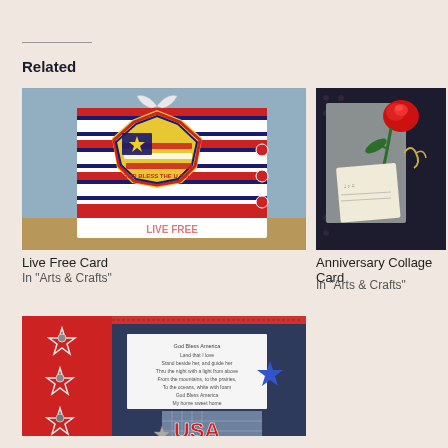Related
[Figure (photo): Live Free Card - patriotic card with American flag star design on red and white striped background]
Live Free Card
In "Arts & Crafts"
[Figure (photo): Anniversary Collage Card - card with red roses on dark floral background]
Anniversary Collage Card
In "Arts & Crafts"
[Figure (photo): USA patriotic card with stars, red white and blue design, God Bless America poem text visible]